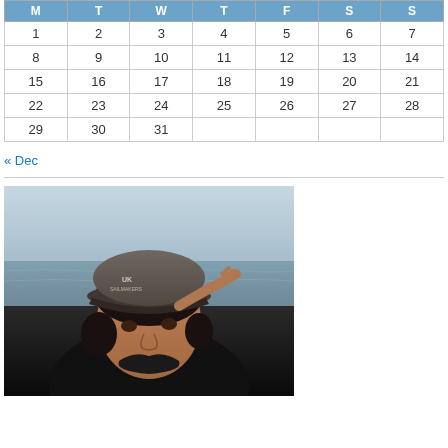| M | T | W | T | F | S | S |
| --- | --- | --- | --- | --- | --- | --- |
| 1 | 2 | 3 | 4 | 5 | 6 | 7 |
| 8 | 9 | 10 | 11 | 12 | 13 | 14 |
| 15 | 16 | 17 | 18 | 19 | 20 | 21 |
| 22 | 23 | 24 | 25 | 26 | 27 | 28 |
| 29 | 30 | 31 |  |  |  |  |
« Dec
[Figure (photo): A man wearing a grey baseball cap with 'UK Sailmakers' logo, saluting or shielding his eyes, with ocean water visible in the background. He has dark hair and is wearing a dark jacket.]